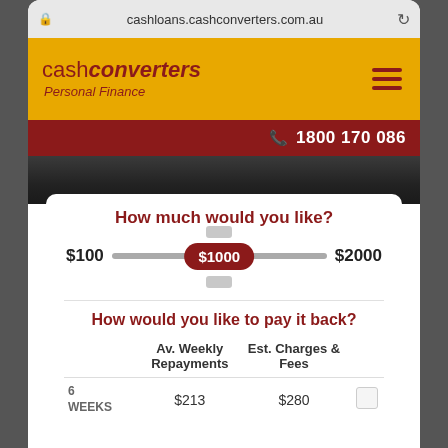[Figure (screenshot): Mobile browser screenshot of cashloans.cashconverters.com.au showing Cash Converters Personal Finance loan calculator page]
cashloans.cashconverters.com.au
cash converters Personal Finance
1800 170 086
How much would you like?
$100  $1000  $2000
How would you like to pay it back?
|  | Av. Weekly Repayments | Est. Charges & Fees |  |
| --- | --- | --- | --- |
| 6
WEEKS | $213 | $280 | ☐ |